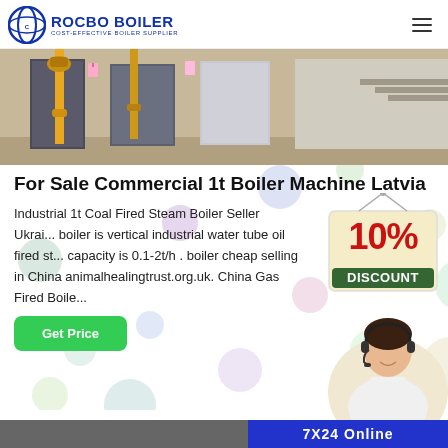ROCBO BOILER — COST-EFFECTIVE BOILER SUPPLIER
[Figure (photo): Industrial boiler room interior with yellow pipes and blue-grey doors]
For Sale Commercial 1t Boiler Machine Latvia
Industrial 1t Coal Fired Steam Boiler Seller Ukraine ... boiler is vertical industrial water tube oil fired st... capacity is 0.1-2t/h . boiler cheap selling in China animalhealingtrust.org.uk. China Gas Fired Boile...
[Figure (illustration): 10% DISCOUNT badge/sign in red and cream]
[Figure (photo): Customer service representative woman with headset smiling]
7X24 Online